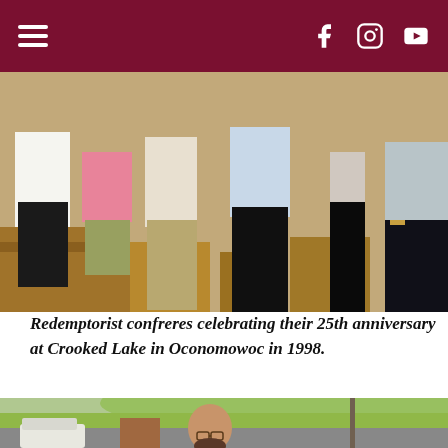Navigation bar with hamburger menu and social icons (Facebook, Instagram, YouTube)
[Figure (photo): Group of Redemptorist confreres standing indoors near wooden pews, photographed from approximately waist down, showing several people in casual clothing]
Redemptorist confreres celebrating their 25th anniversary at Crooked Lake in Oconomowoc in 1998.
[Figure (photo): Outdoor photo showing a man standing in a parking lot with a white SUV and brick structure visible behind him, grassy hill and utility pole in background]